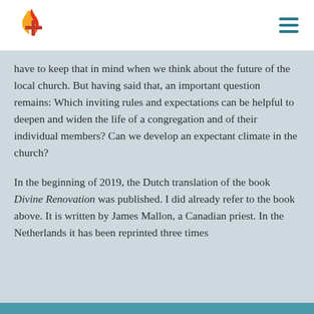United Methodist Church logo and navigation
have to keep that in mind when we think about the future of the local church. But having said that, an important question remains: Which inviting rules and expectations can be helpful to deepen and widen the life of a congregation and of their individual members? Can we develop an expectant climate in the church?
In the beginning of 2019, the Dutch translation of the book Divine Renovation was published. I did already refer to the book above. It is written by James Mallon, a Canadian priest. In the Netherlands it has been reprinted three times